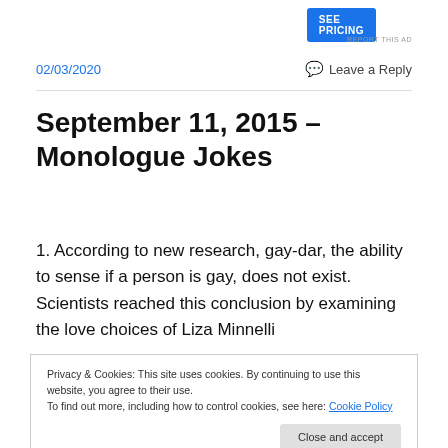SEE PRICING
REPORT THIS AD
02/03/2020
💬 Leave a Reply
September 11, 2015 – Monologue Jokes
1. According to new research, gay-dar, the ability to sense if a person is gay, does not exist. Scientists reached this conclusion by examining the love choices of Liza Minnelli
Privacy & Cookies: This site uses cookies. By continuing to use this website, you agree to their use.
To find out more, including how to control cookies, see here: Cookie Policy
[Close and accept]
relief.